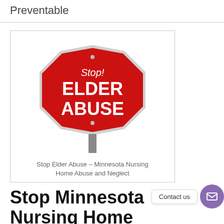Preventable
[Figure (illustration): A red octagonal stop sign styled to read 'Stop! ELDER ABUSE' in white text on red background, mounted on a grey pole, on white background.]
Stop Elder Abuse – Minnesota Nursing Home Abuse and Neglect
Stop Minnesota Nursing Home Abuse